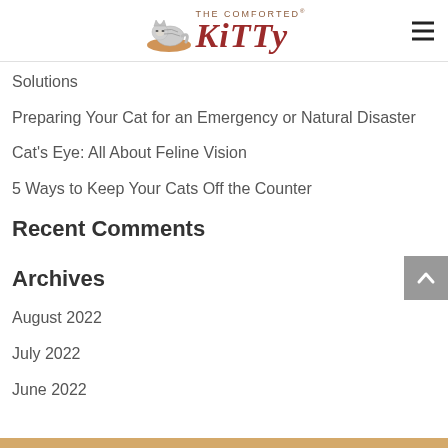The Comforted Kitty
Solutions
Preparing Your Cat for an Emergency or Natural Disaster
Cat's Eye: All About Feline Vision
5 Ways to Keep Your Cats Off the Counter
Recent Comments
Archives
August 2022
July 2022
June 2022